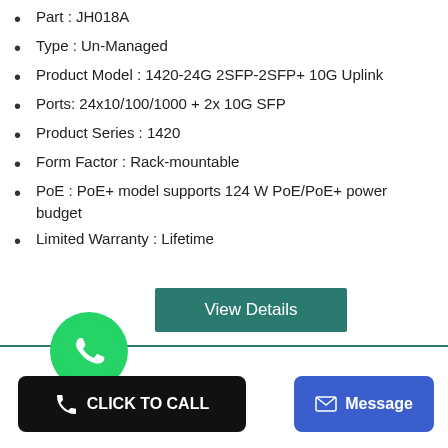Part : JH018A
Type : Un-Managed
Product Model : 1420-24G 2SFP-2SFP+ 10G Uplink
Ports: 24x10/100/1000 + 2x 10G SFP
Product Series : 1420
Form Factor : Rack-mountable
PoE : PoE+ model supports 124 W PoE/PoE+ power budget
Limited Warranty : Lifetime
[Figure (screenshot): View Details button in teal/dark green color]
[Figure (logo): WhatsApp green circle logo with phone handset icon]
[Figure (screenshot): Black CLICK TO CALL button with phone icon]
[Figure (screenshot): Blue Message button with envelope icon]